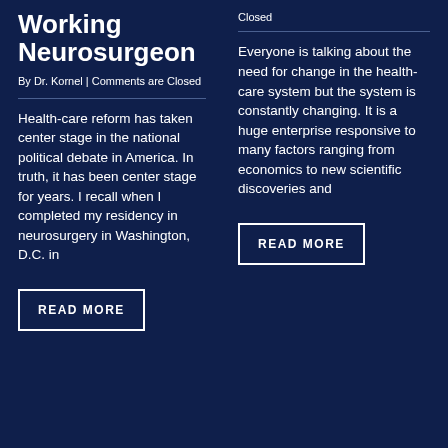Working Neurosurgeon
By Dr. Kornel | Comments are Closed
Health-care reform has taken center stage in the national political debate in America. In truth, it has been center stage for years. I recall when I completed my residency in neurosurgery in Washington, D.C. in
READ MORE
Closed
Everyone is talking about the need for change in the health-care system but the system is constantly changing. It is a huge enterprise responsive to many factors ranging from economics to new scientific discoveries and
READ MORE